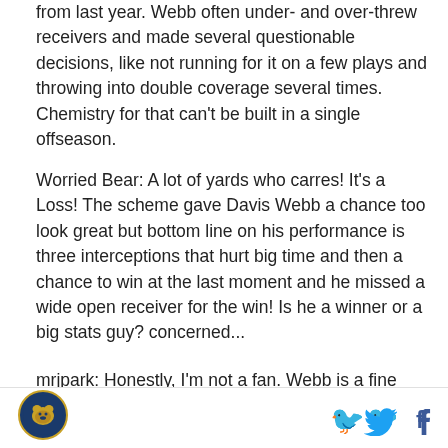from last year. Webb often under- and over-threw receivers and made several questionable decisions, like not running for it on a few plays and throwing into double coverage several times. Chemistry for that can't be built in a single offseason.
Worried Bear: A lot of yards who carres! It's a Loss! The scheme gave Davis Webb a chance too look great but bottom line on his performance is three interceptions that hurt big time and then a chance to win at the last moment and he missed a wide open receiver for the win! Is he a winner or a big stats guy? concerned...
mrjpark: Honestly, I'm not a fan. Webb is a fine passer,
[Figure (logo): Team logo — circular bear emblem with gold and dark blue colors]
[Figure (logo): Twitter bird icon in blue]
[Figure (logo): Facebook 'f' icon in dark blue]